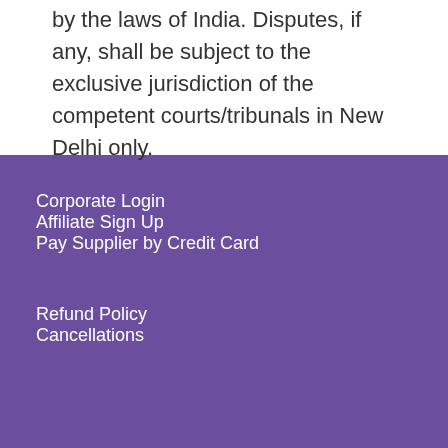by the laws of India. Disputes, if any, shall be subject to the exclusive jurisdiction of the competent courts/tribunals in New Delhi only.
Corporate Login
Affiliate Sign Up
Pay Supplier by Credit Card
Refund Policy
Cancellations